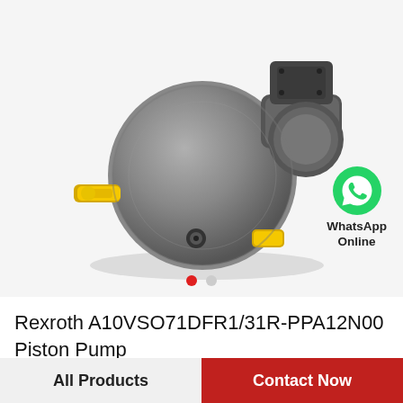[Figure (photo): Rexroth A10VSO71DFR1/31R-PPA12N00 hydraulic axial piston pump with yellow-capped shaft and yellow fittings, dark gray body, shown at an angle. WhatsApp Online badge visible at bottom right with green WhatsApp icon.]
Rexroth A10VSO71DFR1/31R-PPA12N00 Piston Pump
All Products
Contact Now